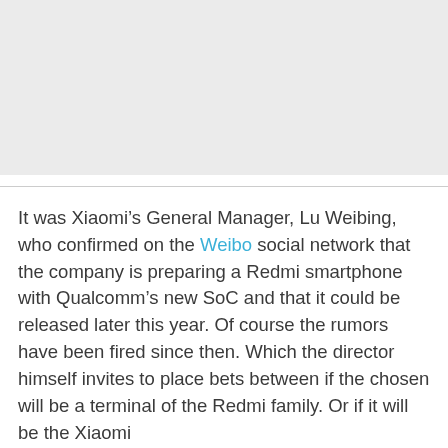[Figure (photo): Image placeholder area, light gray background, appears to be a cropped photo area at top of article page]
It was Xiaomi’s General Manager, Lu Weibing, who confirmed on the Weibo social network that the company is preparing a Redmi smartphone with Qualcomm’s new SoC and that it could be released later this year. Of course the rumors have been fired since then. Which the director himself invites to place bets between if the chosen will be a terminal of the Redmi family. Or if it will be the Xiaomi